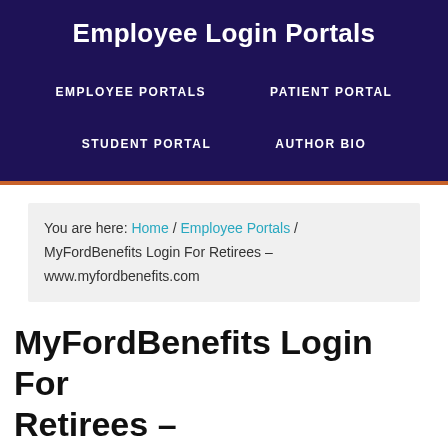Employee Login Portals
EMPLOYEE PORTALS
PATIENT PORTAL
STUDENT PORTAL
AUTHOR BIO
You are here: Home / Employee Portals / MyFordBenefits Login For Retirees – www.myfordbenefits.com
MyFordBenefits Login For Retirees –